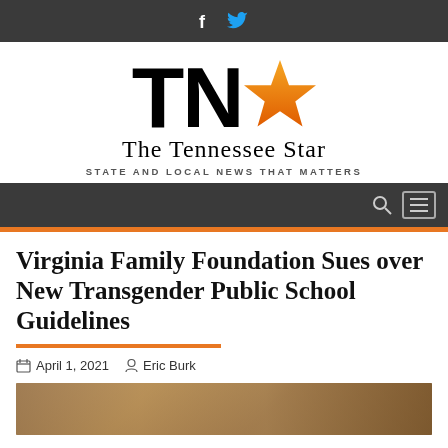Social bar with Facebook and Twitter icons
[Figure (logo): The Tennessee Star newspaper logo featuring bold TN letters in black with an orange star, and tagline 'STATE AND LOCAL NEWS THAT MATTERS']
Navigation bar with search and menu icons
Virginia Family Foundation Sues over New Transgender Public School Guidelines
April 1, 2021   Eric Burk
[Figure (photo): Bottom edge of an indoor photograph showing wooden furniture/floor tones]